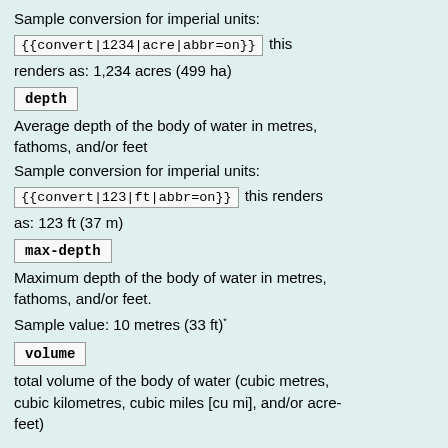Sample conversion for imperial units:
{{convert|1234|acre|abbr=on}}  this renders as: 1,234 acres (499 ha)
depth
Average depth of the body of water in metres, fathoms, and/or feet
Sample conversion for imperial units:
{{convert|123|ft|abbr=on}}  this renders as: 123 ft (37 m)
max-depth
Maximum depth of the body of water in metres, fathoms, and/or feet.
Sample value: 10 metres (33 ft)*
volume
total volume of the body of water (cubic metres, cubic kilometres, cubic miles [cu mi], and/or acre-feet)